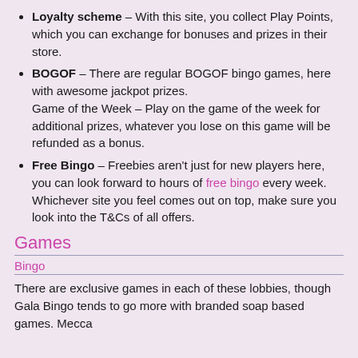Loyalty scheme – With this site, you collect Play Points, which you can exchange for bonuses and prizes in their store.
BOGOF – There are regular BOGOF bingo games, here with awesome jackpot prizes. Game of the Week – Play on the game of the week for additional prizes, whatever you lose on this game will be refunded as a bonus.
Free Bingo – Freebies aren't just for new players here, you can look forward to hours of free bingo every week. Whichever site you feel comes out on top, make sure you look into the T&Cs of all offers.
Games
Bingo
There are exclusive games in each of these lobbies, though Gala Bingo tends to go more with branded soap based games. Mecca